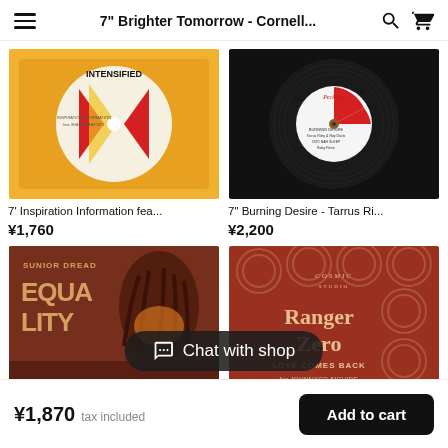7" Brighter Tomorrow - Cornell...
[Figure (photo): 7-inch vinyl record with yellow/orange sleeve, Intensified label]
7' Inspiration Information fea...
¥1,760
[Figure (photo): 7-inch vinyl record with red and white label on black record, Burning Desire]
7" Burning Desire - Tarrus Ri...
¥2,200
[Figure (photo): Album cover: Junior Dread - Equality, dark warm tones]
[Figure (photo): Album cover: Ranger Zero - Love Comes Back, brownish retro design]
¥1,870  tax included
Add to cart